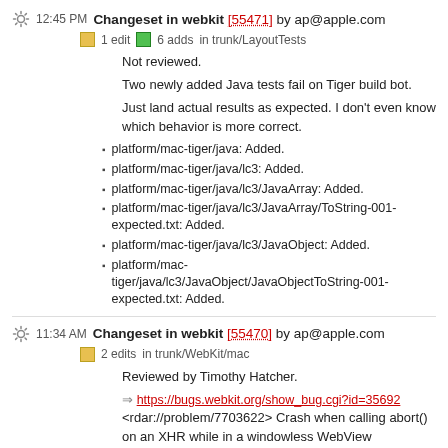12:45 PM Changeset in webkit [55471] by ap@apple.com
1 edit  6 adds  in trunk/LayoutTests
Not reviewed.
Two newly added Java tests fail on Tiger build bot.
Just land actual results as expected. I don't even know which behavior is more correct.
platform/mac-tiger/java: Added.
platform/mac-tiger/java/lc3: Added.
platform/mac-tiger/java/lc3/JavaArray: Added.
platform/mac-tiger/java/lc3/JavaArray/ToString-001-expected.txt: Added.
platform/mac-tiger/java/lc3/JavaObject: Added.
platform/mac-tiger/java/lc3/JavaObject/JavaObjectToString-001-expected.txt: Added.
11:34 AM Changeset in webkit [55470] by ap@apple.com
2 edits  in trunk/WebKit/mac
Reviewed by Timothy Hatcher.
https://bugs.webkit.org/show_bug.cgi?id=35692
<rdar://problem/7703622> Crash when calling abort() on an XHR while in a windowless WebView
Panels/WebAuthenticationPanel.m: (-[WebAuthenticationPanel